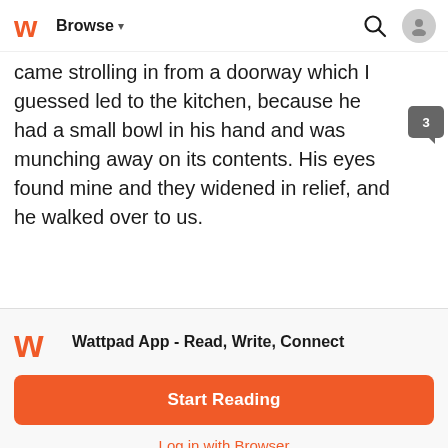Browse
came strolling in from a doorway which I guessed led to the kitchen, because he had a small bowl in his hand and was munching away on its contents. His eyes found mine and they widened in relief, and he walked over to us.
Wattpad App - Read, Write, Connect
Start Reading
Log in with Browser